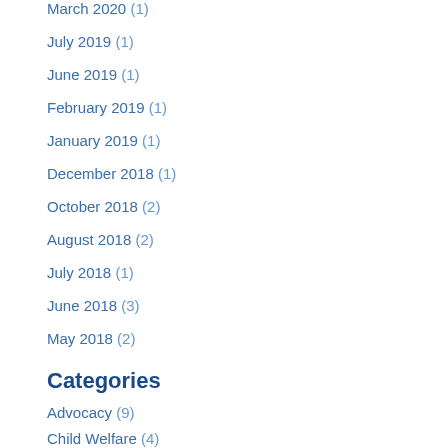March 2020 (1)
July 2019 (1)
June 2019 (1)
February 2019 (1)
January 2019 (1)
December 2018 (1)
October 2018 (2)
August 2018 (2)
July 2018 (1)
June 2018 (3)
May 2018 (2)
Categories
Advocacy (9)
Child Welfare (4)
Convening (1)